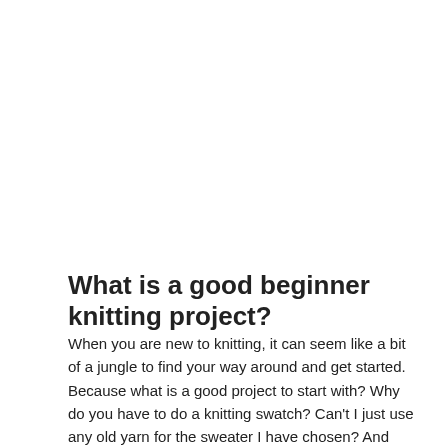What is a good beginner knitting project?
When you are new to knitting, it can seem like a bit of a jungle to find your way around and get started. Because what is a good project to start with? Why do you have to do a knitting swatch? Can't I just use any old yarn for the sweater I have chosen? And what do those abbreviations really mean? And so it is with most new hobbies. It all takes